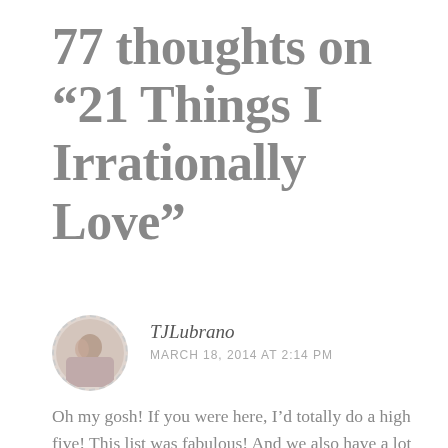77 thoughts on “21 Things I Irrationally Love”
TJLubrano
MARCH 18, 2014 AT 2:14 PM
Oh my gosh! If you were here, I’d totally do a high five! This list was fabulous! And we also have a lot in common (I said the same on